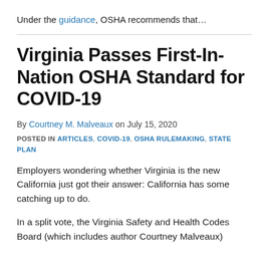Under the guidance, OSHA recommends that…
Virginia Passes First-In-Nation OSHA Standard for COVID-19
By Courtney M. Malveaux on July 15, 2020
POSTED IN ARTICLES, COVID-19, OSHA RULEMAKING, STATE PLAN
Employers wondering whether Virginia is the new California just got their answer: California has some catching up to do.
In a split vote, the Virginia Safety and Health Codes Board (which includes author Courtney Malveaux)